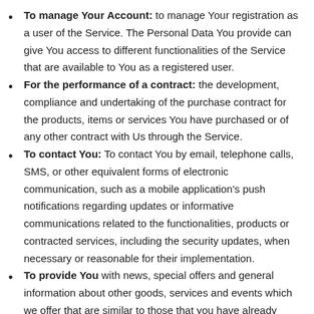To manage Your Account: to manage Your registration as a user of the Service. The Personal Data You provide can give You access to different functionalities of the Service that are available to You as a registered user.
For the performance of a contract: the development, compliance and undertaking of the purchase contract for the products, items or services You have purchased or of any other contract with Us through the Service.
To contact You: To contact You by email, telephone calls, SMS, or other equivalent forms of electronic communication, such as a mobile application’s push notifications regarding updates or informative communications related to the functionalities, products or contracted services, including the security updates, when necessary or reasonable for their implementation.
To provide You with news, special offers and general information about other goods, services and events which we offer that are similar to those that you have already